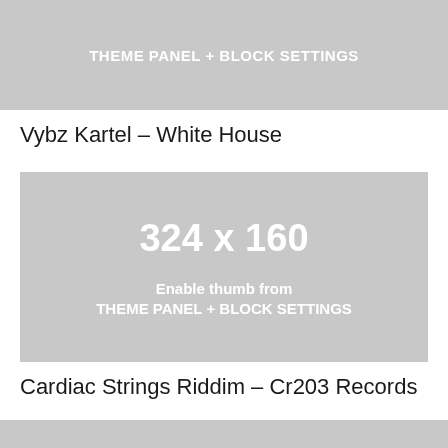[Figure (other): Gray placeholder banner with text 'THEME PANEL + BLOCK SETTINGS']
Vybz Kartel – White House
[Figure (other): Gray placeholder image 324 x 160 with text 'Enable thumb from THEME PANEL + BLOCK SETTINGS']
Cardiac Strings Riddim – Cr203 Records
[Figure (other): Gray placeholder banner (partial, bottom of page)]